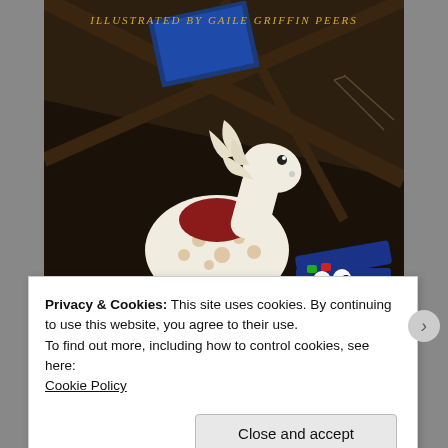[Figure (illustration): Book cover for 'Prince Regal and the Forgotten Friends', illustrated by Gaile Griffin Peers. Shows a white rocking horse with spots and a red saddle in a dark attic setting, beside a blue toy chest with googly eyes peeking out. Title text in yellow/green decorative font at the bottom. Illustrator credit at the top in gold text.]
Privacy & Cookies: This site uses cookies. By continuing to use this website, you agree to their use.
To find out more, including how to control cookies, see here:
Cookie Policy
Close and accept